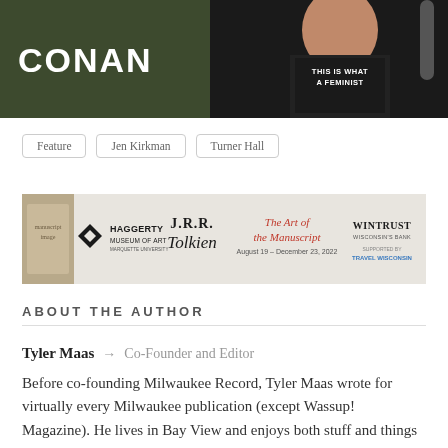[Figure (photo): Top portion of a TV show image with the text CONAN visible on the left and a person wearing a shirt that says THIS IS WHAT A FEMINIST looks like on the right]
Feature
Jen Kirkman
Turner Hall
[Figure (other): Haggerty Museum of Art advertisement for J.R.R. Tolkien: The Art of the Manuscript, August 19 – December 23, 2022, sponsored by Wintrust Wisconsin's Bank and Travel Wisconsin]
ABOUT THE AUTHOR
Tyler Maas → Co-Founder and Editor
Before co-founding Milwaukee Record, Tyler Maas wrote for virtually every Milwaukee publication (except Wassup! Magazine). He lives in Bay View and enjoys both stuff and things